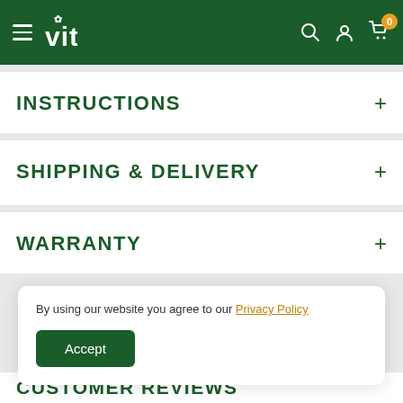vita — navigation header with search, account, and cart icons
INSTRUCTIONS
SHIPPING & DELIVERY
WARRANTY
By using our website you agree to our Privacy Policy
Accept
CUSTOMER REVIEWS